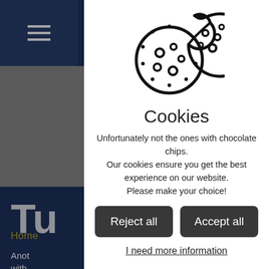[Figure (screenshot): Background website screenshot showing dark navy header with hamburger menu, gold stripe, navy section with partial 'Tu' heading and 'Home' breadcrumb text, all dimmed behind a cookie consent modal overlay]
[Figure (illustration): Cookie consent modal dialog with cookie icon (two cookies, one with a bite taken out), title 'Cookies', descriptive text, two dark buttons labeled 'Reject all' and 'Accept all', and an underlined link 'I need more information']
Cookies
Unfortunately not the ones with chocolate chips. Our cookies ensure you get the best experience on our website. Please make your choice!
Reject all
Accept all
I need more information